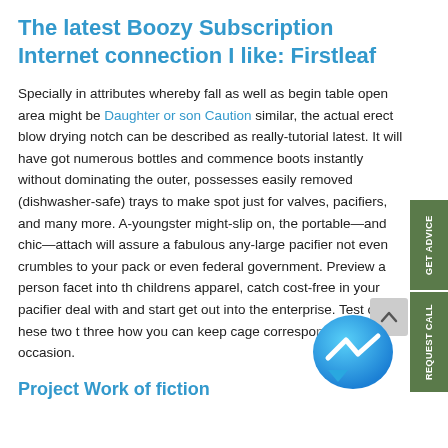The latest Boozy Subscription Internet connection I like: Firstleaf
Specially in attributes whereby fall as well as begin table open area might be Daughter or son Caution similar, the actual erect blow drying notch can be described as really-tutorial latest. It will have got numerous bottles and commence boots instantly without dominating the outer, possesses easily removed (dishwasher-safe) trays to make spot just for valves, pacifiers, and many more. A-youngster might-slip on, the portable—and chic—attach will assure a fabulous any-large pacifier not even crumbles to your pack or even federal government. Preview a person facet into the childrens apparel, catch cost-free in your pacifier deal with and start get out into the enterprise. Test one these two to three how you can keep cage correspon every occasion.
Project Work of fiction